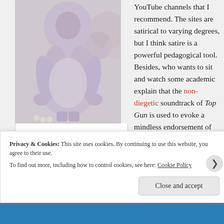[Figure (photo): Person wearing a furry/fuzzy full-body costume, lavender/grey colored, standing against a light background with decorative circular shapes.]
A different piece of cinematic history you were previously unaware of.
YouTube channels that I recommend. The sites are satirical to varying degrees, but I think satire is a powerful pedagogical tool. Besides, who wants to sit and watch some academic explain that the non-diegetic soundtrack of Top Gun is used to evoke a mindless endorsement of Cold
Privacy & Cookies: This site uses cookies. By continuing to use this website, you agree to their use.
To find out more, including how to control cookies, see here: Cookie Policy
Close and accept